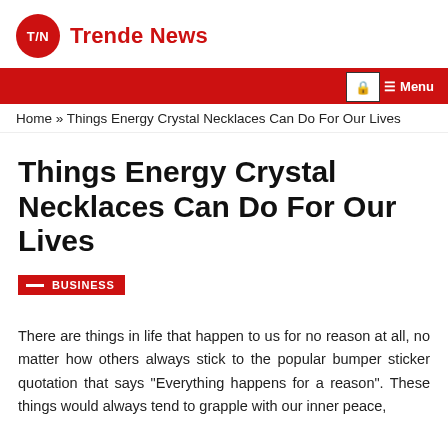T/N Trende News
Home » Things Energy Crystal Necklaces Can Do For Our Lives
Things Energy Crystal Necklaces Can Do For Our Lives
BUSINESS
There are things in life that happen to us for no reason at all, no matter how others always stick to the popular bumper sticker quotation that says "Everything happens for a reason". These things would always tend to grapple with our inner peace,